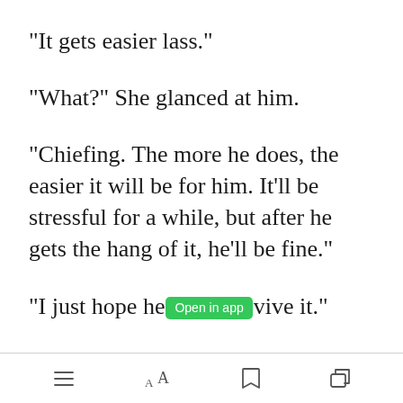"It gets easier lass."
"What?" She glanced at him.
"Chiefing. The more he does, the easier it will be for him. It'll be stressful for a while, but after he gets the hang of it, he'll be fine."
"I just hope he [Open in app] vive it."
toolbar with menu, font, bookmark, share icons